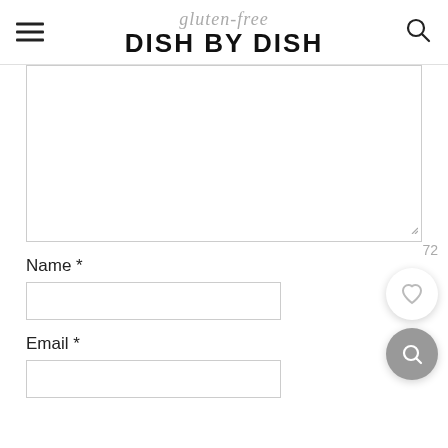gluten-free DISH BY DISH
[Figure (screenshot): Large empty textarea form field with resize handle at bottom right]
Name *
[Figure (screenshot): Empty text input field for Name]
Email *
[Figure (screenshot): Empty text input field for Email]